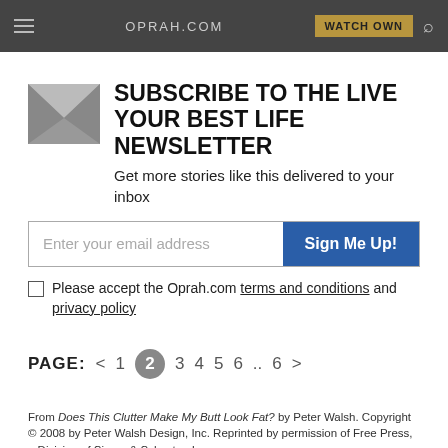OPRAH.COM  WATCH OWN
SUBSCRIBE TO THE LIVE YOUR BEST LIFE NEWSLETTER
Get more stories like this delivered to your inbox
Enter your email address  Sign Me Up!
Please accept the Oprah.com terms and conditions and privacy policy
PAGE: < 1 2 3 4 5 6 .. 6 >
From Does This Clutter Make My Butt Look Fat? by Peter Walsh. Copyright © 2008 by Peter Walsh Design, Inc. Reprinted by permission of Free Press, a Division of Simon & Schuster, Inc.
Published 01/01/2006